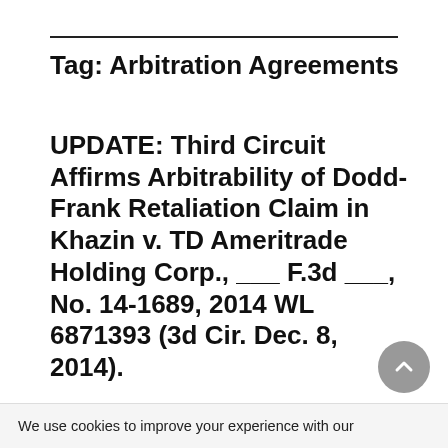Tag: Arbitration Agreements
UPDATE: Third Circuit Affirms Arbitrability of Dodd-Frank Retaliation Claim in Khazin v. TD Ameritrade Holding Corp., ___ F.3d ___, No. 14-1689, 2014 WL 6871393 (3d Cir. Dec. 8, 2014).
We use cookies to improve your experience with our